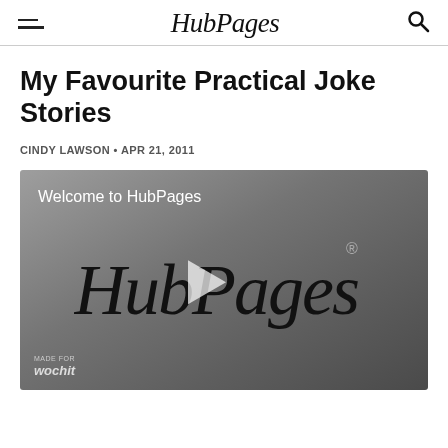HubPages
My Favourite Practical Joke Stories
CINDY LAWSON • APR 21, 2011
[Figure (screenshot): Video thumbnail showing HubPages logo with play button and text 'Welcome to HubPages'. Bottom left shows 'wochit' branding.]